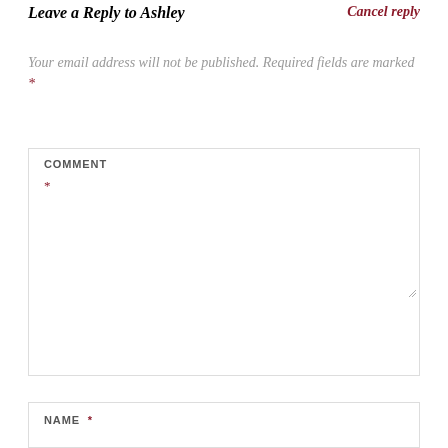Leave a Reply to Ashley
Cancel reply
Your email address will not be published. Required fields are marked *
COMMENT *
NAME *